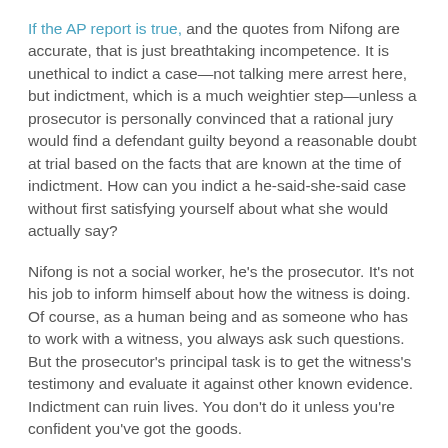If the AP report is true, and the quotes from Nifong are accurate, that is just breathtaking incompetence. It is unethical to indict a case—not talking mere arrest here, but indictment, which is a much weightier step—unless a prosecutor is personally convinced that a rational jury would find a defendant guilty beyond a reasonable doubt at trial based on the facts that are known at the time of indictment. How can you indict a he-said-she-said case without first satisfying yourself about what she would actually say?
Nifong is not a social worker, he's the prosecutor. It's not his job to inform himself about how the witness is doing. Of course, as a human being and as someone who has to work with a witness, you always ask such questions. But the prosecutor's principal task is to get the witness's testimony and evaluate it against other known evidence. Indictment can ruin lives. You don't do it unless you're confident you've got the goods.